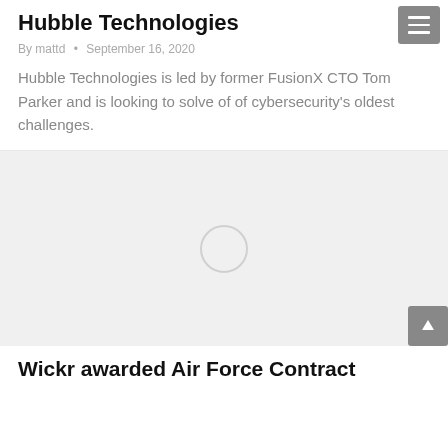Hubble Technologies
By mattd · September 16, 2020
Hubble Technologies is led by former FusionX CTO Tom Parker and is looking to solve of of cybersecurity's oldest challenges.
[Figure (photo): Loading placeholder image with spinner circle on light gray background]
Wickr awarded Air Force Contract